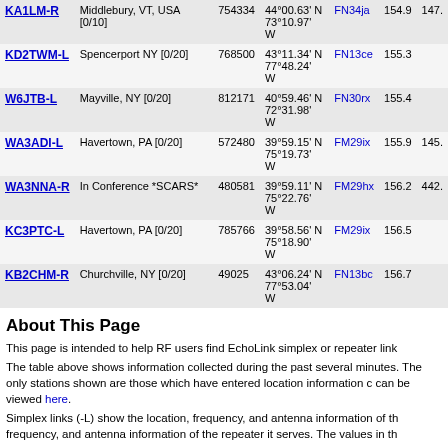| Callsign | Location | Node | Coordinates | Grid | Freq |  |
| --- | --- | --- | --- | --- | --- | --- |
| KA1LM-R | Middlebury, VT, USA [0/10] | 754334 | 44°00.63' N 73°10.97' W | FN34ja | 154.9 | 147. |
| KD2TWM-L | Spencerport NY [0/20] | 768500 | 43°11.34' N 77°48.24' W | FN13ce | 155.3 |  |
| W6JTB-L | Mayville, NY [0/20] | 812171 | 40°59.46' N 72°31.98' W | FN30rx | 155.4 |  |
| WA3ADI-L | Havertown, PA [0/20] | 572480 | 39°59.15' N 75°19.73' W | FM29ix | 155.9 | 145. |
| WA3NNA-R | In Conference *SCARS* | 480581 | 39°59.11' N 75°22.76' W | FM29hx | 156.2 | 442. |
| KC3PTC-L | Havertown, PA [0/20] | 785766 | 39°58.56' N 75°18.90' W | FM29ix | 156.5 |  |
| KB2CHM-R | Churchville, NY [0/20] | 49025 | 43°06.24' N 77°53.04' W | FN13bc | 156.7 |  |
About This Page
This page is intended to help RF users find EchoLink simplex or repeater link
The table above shows information collected during the past several minutes. The only stations shown are those which have entered location information c can be viewed here.
Simplex links (-L) show the location, frequency, and antenna information of th frequency, and antenna information of the repeater it serves. The values in th
Copyright © 2002-2020 Synergenics, LLC.  EchoLink® is a registered trademark of Synergenics, LLC.